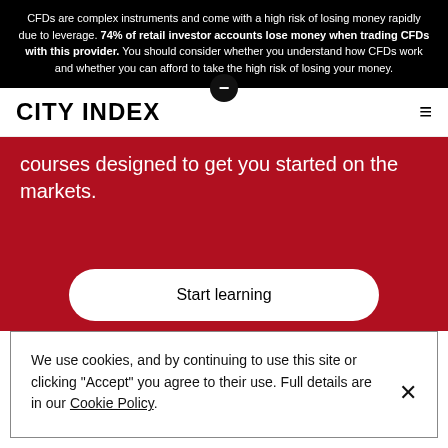CFDs are complex instruments and come with a high risk of losing money rapidly due to leverage. 74% of retail investor accounts lose money when trading CFDs with this provider. You should consider whether you understand how CFDs work and whether you can afford to take the high risk of losing your money.
CITY INDEX
[Figure (screenshot): Red hero banner showing text 'courses designed to get you started on the markets.' with a partially visible white CTA button and trading chart background]
We use cookies, and by continuing to use this site or clicking "Accept" you agree to their use. Full details are in our Cookie Policy.
Fo... FAQ
Open account